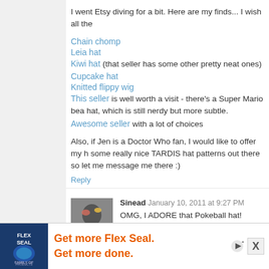I went Etsy diving for a bit. Here are my finds... I wish all the
Chain chomp
Leia hat
Kiwi hat (that seller has some other pretty neat ones)
Cupcake hat
Knitted flippy wig
This seller is well worth a visit - there's a Super Mario bea hat, which is still nerdy but more subtle.
Awesome seller with a lot of choices
Also, if Jen is a Doctor Who fan, I would like to offer my h some really nice TARDIS hat patterns out there so let me message me there :)
Reply
Sinead  January 10, 2011 at 9:27 PM
OMG, I ADORE that Pokeball hat! Infact, I adore pretty mu Hodgekins in the BUTT! :D
Reply
Anonymous  January 10, 2011 at 9:39 PM
[Figure (infographic): Flex Seal advertisement banner at bottom of page. Orange text reads 'Get more Flex Seal. Get more done.' with blue logo on left.]